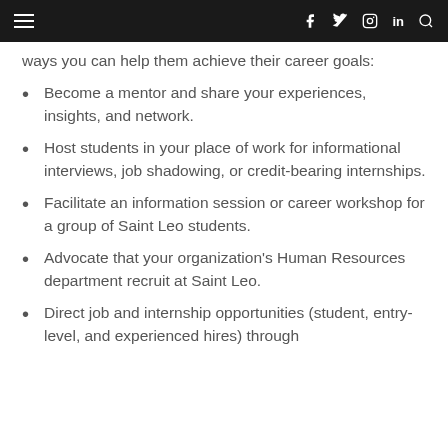Navigation bar with hamburger menu, social icons (f, twitter, instagram, in), and search
Network to help current students. Here are a few ways you can help them achieve their career goals:
Become a mentor and share your experiences, insights, and network.
Host students in your place of work for informational interviews, job shadowing, or credit-bearing internships.
Facilitate an information session or career workshop for a group of Saint Leo students.
Advocate that your organization's Human Resources department recruit at Saint Leo.
Direct job and internship opportunities (student, entry-level, and experienced hires) through